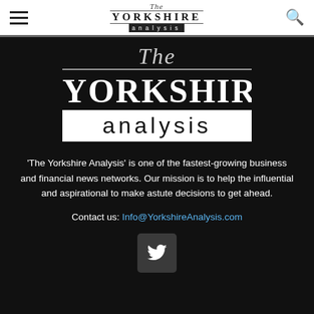The Yorkshire Analysis – navigation bar with logo
[Figure (logo): The Yorkshire Analysis logo – large centered version on dark background]
'The Yorkshire Analysis' is one of the fastest-growing business and financial news networks. Our mission is to help the influential and aspirational to make astute decisions to get ahead.
Contact us: Info@YorkshireAnalysis.com
[Figure (illustration): Twitter bird icon button]